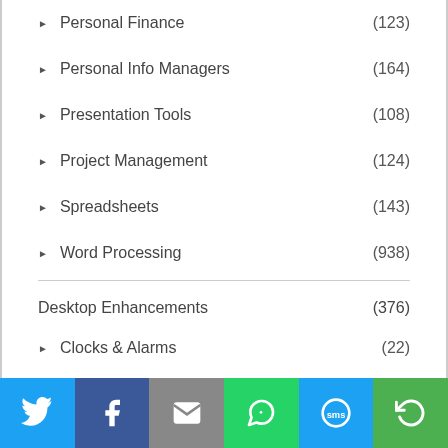Personal Finance (123)
Personal Info Managers (164)
Presentation Tools (108)
Project Management (124)
Spreadsheets (143)
Word Processing (938)
Desktop Enhancements (376)
Clocks & Alarms (22)
Font Tools (9)
[Figure (infographic): Social sharing footer bar with Twitter, Facebook, Email, WhatsApp, SMS, and a share icon buttons]